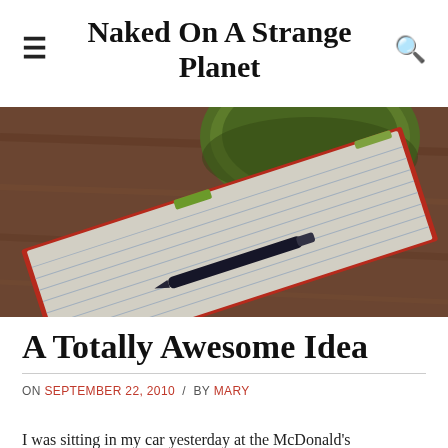Naked On A Strange Planet
[Figure (photo): Overhead photo of a lined notebook with red cover and green bookmark tab, a fountain pen resting on it, and a green bowl/cup partially visible on a wooden table background.]
A Totally Awesome Idea
ON SEPTEMBER 22, 2010 / BY MARY
I was sitting in my car yesterday at the McDonald's